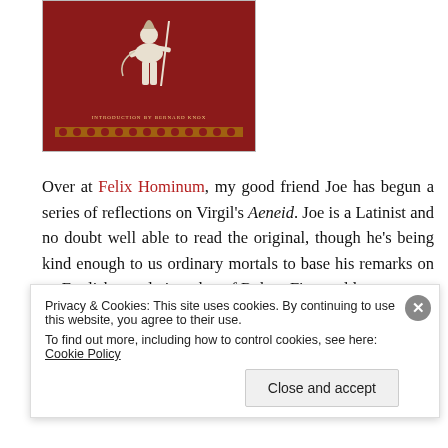[Figure (illustration): Book cover of the Aeneid with red background, a figure of a Roman soldier/warrior in white, and text 'INTRODUCTION BY BERNARD KNOX' at the bottom with decorative border]
Over at Felix Hominum, my good friend Joe has begun a series of reflections on Virgil's Aeneid. Joe is a Latinist and no doubt well able to read the original, though he's being kind enough to us ordinary mortals to base his remarks on an English translation, that of Robert Fitzgerald.
I read the Aeneid about ten years ago, in Fitzgerald's translation, and I have to say I found it hard work. However
Privacy & Cookies: This site uses cookies. By continuing to use this website, you agree to their use.
To find out more, including how to control cookies, see here: Cookie Policy
Close and accept